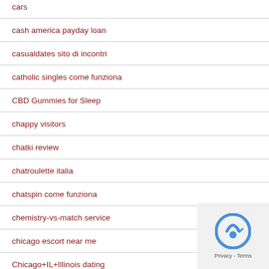cars
cash america payday loan
casualdates sito di incontri
catholic singles come funziona
CBD Gummies for Sleep
chappy visitors
chatki review
chatroulette italia
chatspin come funziona
chemistry-vs-match service
chicago escort near me
Chicago+IL+Illinois dating
Chicago+IL+Illinois reviews